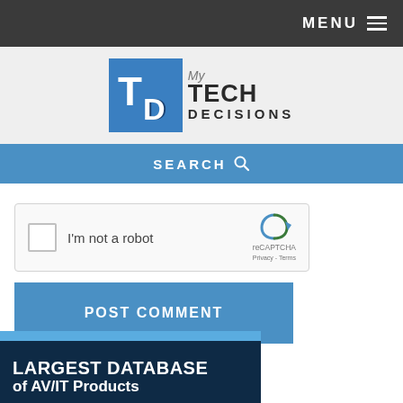MENU
[Figure (logo): My Tech Decisions logo with TD icon in blue square]
SEARCH
[Figure (screenshot): reCAPTCHA widget with checkbox and 'I'm not a robot' label]
POST COMMENT
[Figure (infographic): Dark blue banner reading LARGEST DATABASE of AV/IT Products with light blue stripe at top]